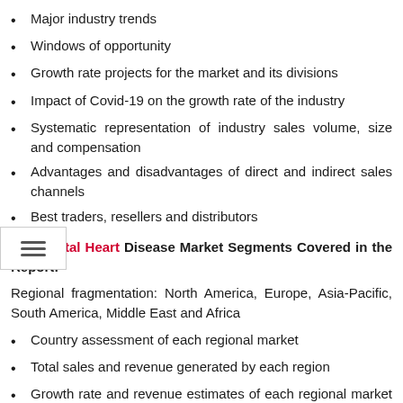Major industry trends
Windows of opportunity
Growth rate projects for the market and its divisions
Impact of Covid-19 on the growth rate of the industry
Systematic representation of industry sales volume, size and compensation
Advantages and disadvantages of direct and indirect sales channels
Best traders, resellers and distributors
Congenital Heart Disease Market Segments Covered in the Report:
Regional fragmentation: North America, Europe, Asia-Pacific, South America, Middle East and Africa
Country assessment of each regional market
Total sales and revenue generated by each region
Growth rate and revenue estimates of each regional market over